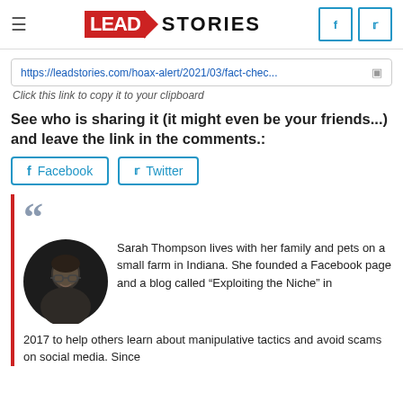Lead Stories — navigation header with hamburger menu, logo, and Facebook/Twitter icons
https://leadstories.com/hoax-alert/2021/03/fact-chec...
Click this link to copy it to your clipboard
See who is sharing it (it might even be your friends...) and leave the link in the comments.:
Facebook   Twitter
Sarah Thompson lives with her family and pets on a small farm in Indiana. She founded a Facebook page and a blog called “Exploiting the Niche” in 2017 to help others learn about manipulative tactics and avoid scams on social media. Since